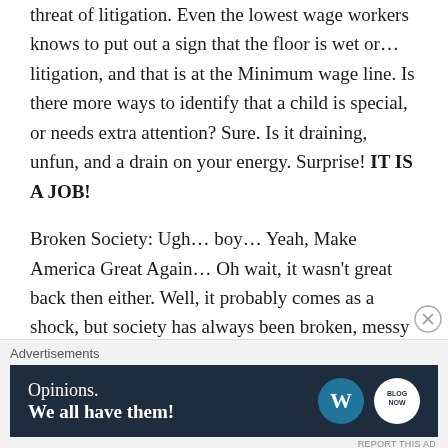threat of litigation. Even the lowest wage workers knows to put out a sign that the floor is wet or... litigation, and that is at the Minimum wage line. Is there more ways to identify that a child is special, or needs extra attention? Sure. Is it draining, unfun, and a drain on your energy. Surprise! IT IS A JOB!

Broken Society: Ugh... boy... Yeah, Make America Great Again... Oh wait, it wasn't great back then either. Well, it probably comes as a shock, but society has always been broken, messy and complicated. It is run by humans, and we are all imperfect. Always have been,
Advertisements
Opinions. We all have them!